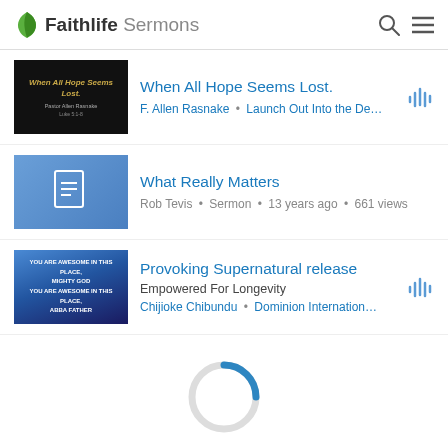Faithlife Sermons
[Figure (screenshot): Sermon listing 1: When All Hope Seems Lost. by F. Allen Rasnake - Launch Out Into the De...]
When All Hope Seems Lost.
F. Allen Rasnake • Launch Out Into the De...
[Figure (screenshot): Sermon listing 2: What Really Matters by Rob Tevis - Sermon - 13 years ago - 661 views]
What Really Matters
Rob Tevis • Sermon • 13 years ago • 661 views
[Figure (screenshot): Sermon listing 3: Provoking Supernatural release - Empowered For Longevity by Chijioke Chibundu - Dominion Internation...]
Provoking Supernatural release
Empowered For Longevity
Chijioke Chibundu • Dominion Internation...